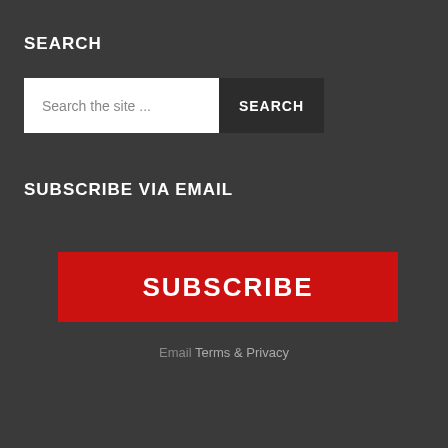SEARCH
Search the site ...
SEARCH
SUBSCRIBE VIA EMAIL
SUBSCRIBE
Email Terms & Privacy